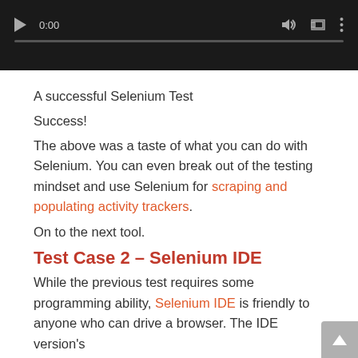[Figure (screenshot): Video player with dark background, play button, 0:00 timestamp, volume, fullscreen, and more icons, with a progress bar at the bottom]
A successful Selenium Test
Success!
The above was a taste of what you can do with Selenium. You can even break out of the testing mindset and use Selenium for scraping and populating activity trackers.
On to the next tool.
Test Case 2 – Selenium IDE
While the previous test requires some programming ability, Selenium IDE is friendly to anyone who can drive a browser. The IDE version's